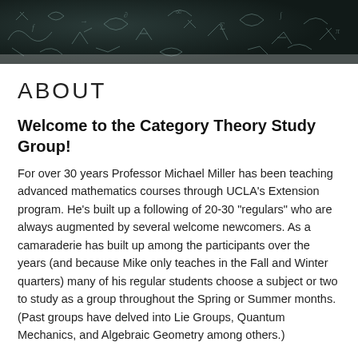[Figure (photo): Dark chalkboard background with mathematical equations and diagrams written in chalk, used as a decorative header banner.]
ABOUT
Welcome to the Category Theory Study Group!
For over 30 years Professor Michael Miller has been teaching advanced mathematics courses through UCLA's Extension program. He's built up a following of 20-30 "regulars" who are always augmented by several welcome newcomers. As a camaraderie has built up among the participants over the years (and because Mike only teaches in the Fall and Winter quarters) many of his regular students choose a subject or two to study as a group throughout the Spring or Summer months. (Past groups have delved into Lie Groups, Quantum Mechanics, and Algebraic Geometry among others.)